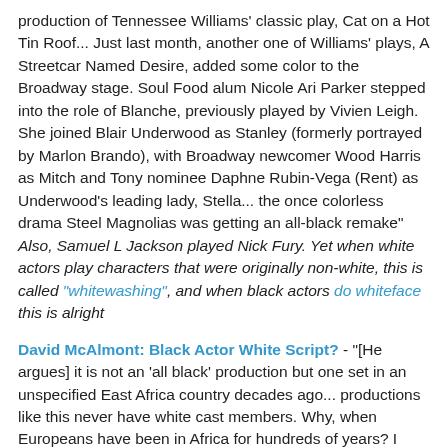production of Tennessee Williams' classic play, Cat on a Hot Tin Roof... Just last month, another one of Williams' plays, A Streetcar Named Desire, added some color to the Broadway stage. Soul Food alum Nicole Ari Parker stepped into the role of Blanche, previously played by Vivien Leigh. She joined Blair Underwood as Stanley (formerly portrayed by Marlon Brando), with Broadway newcomer Wood Harris as Mitch and Tony nominee Daphne Rubin-Vega (Rent) as Underwood's leading lady, Stella... the once colorless drama Steel Magnolias was getting an all-black remake" Also, Samuel L Jackson played Nick Fury. Yet when white actors play characters that were originally non-white, this is called "whitewashing", and when black actors do whiteface this is alright
David McAlmont: Black Actor White Script? - "[He argues] it is not an 'all black' production but one set in an unspecified East Africa country decades ago... productions like this never have white cast members. Why, when Europeans have been in Africa for hundreds of years? I insist that it's tantamount to positive discrimination in the theatre - how about an all black Othello with a white moor for a change?... isn't it all a bit